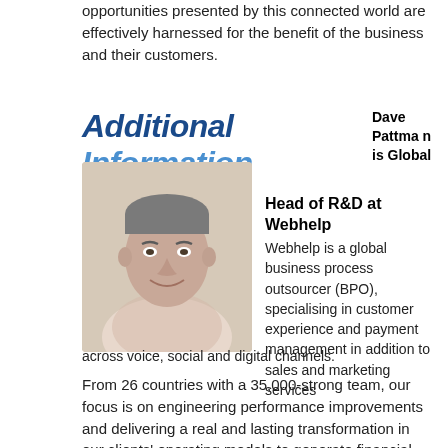opportunities presented by this connected world are effectively harnessed for the benefit of the business and their customers.
Additional Information
Dave Pattman is Global Head of R&D at Webhelp
[Figure (photo): Portrait photo of Dave Pattman, a middle-aged man with grey hair, smiling, wearing a light pink checkered shirt]
Head of R&D at Webhelp
Webhelp is a global business process outsourcer (BPO), specialising in customer experience and payment management in addition to sales and marketing services across voice, social and digital channels.
From 26 countries with a 35,000-strong team, our focus is on engineering performance improvements and delivering a real and lasting transformation in our clients' operating models to generate financial advantage. We